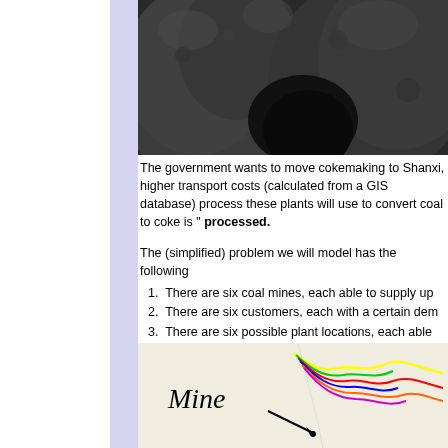[Figure (photo): Close-up photograph of dark grey coal rocks/chunks]
The government wants to move cokemaking to Shanxi, higher transport costs (calculated from a GIS database) process these plants will use to convert coal to coke is "processed.
The (simplified) problem we will model has the following
1. There are six coal mines, each able to supply up
2. There are six customers, each with a certain dem
3. There are six possible plant locations, each able
[Figure (map): Map showing mine locations with colored route lines, with a label 'Mine' and an arrow pointing to a location on the map]